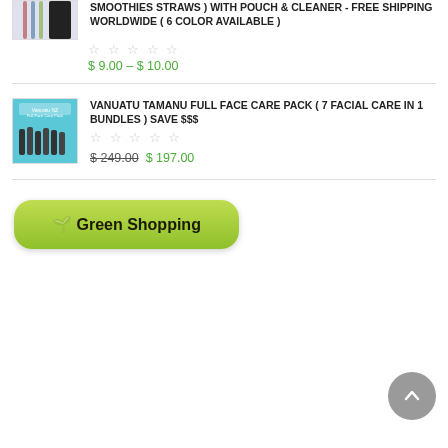[Figure (photo): Product image of colorful smoothie straws with pouch and cleaner]
SMOOTHIES STRAWS ) WITH POUCH & CLEANER - FREE SHIPPING WORLDWIDE ( 6 COLOR AVAILABLE )
★★★★★ (empty stars rating)
$ 9.00 – $ 10.00
[Figure (photo): Product image of Vanuatu Tamanu Full Face Care Pack with 7 facial care products]
VANUATU TAMANU FULL FACE CARE PACK ( 7 FACIAL CARE IN 1 BUNDLES ) SAVE $$$
★★★★★ (empty stars rating)
$ 249.00  $ 197.00
🌱 Green Shopping